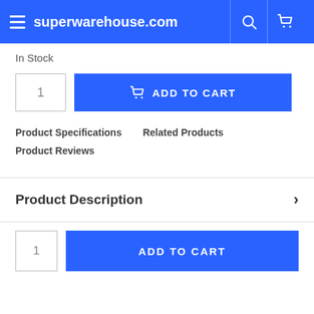superwarehouse.com
In Stock
1  ADD TO CART
Product Specifications   Related Products
Product Reviews
Product Description
1  ADD TO CART